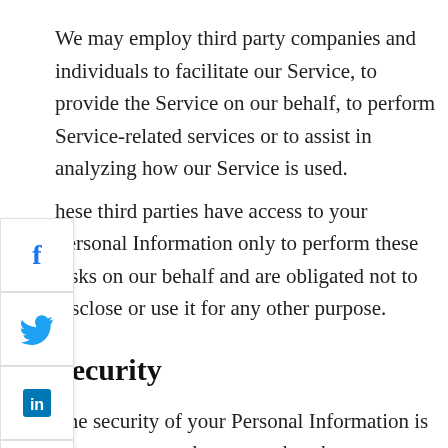We may employ third party companies and individuals to facilitate our Service, to provide the Service on our behalf, to perform Service-related services or to assist in analyzing how our Service is used.
These third parties have access to your Personal Information only to perform these tasks on our behalf and are obligated not to disclose or use it for any other purpose.
Security
The security of your Personal Information is important to us, but remember that no method of transmission over the Internet, or method of electronic storage is